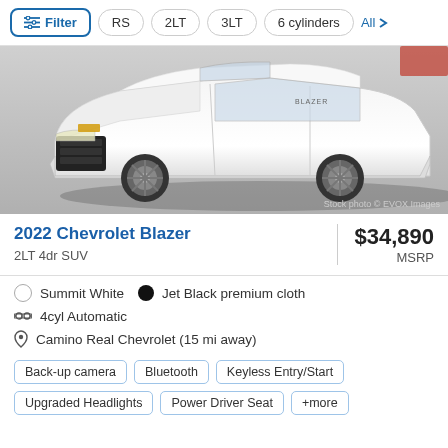Filter | RS | 2LT | 3LT | 6 cylinders | All
[Figure (photo): 2022 Chevrolet Blazer white SUV front three-quarter view, stock photo © EVOX Images]
2022 Chevrolet Blazer
2LT 4dr SUV
$34,890 MSRP
Summit White  •  Jet Black premium cloth
4cyl Automatic
Camino Real Chevrolet (15 mi away)
Back-up camera
Bluetooth
Keyless Entry/Start
Upgraded Headlights
Power Driver Seat
+more